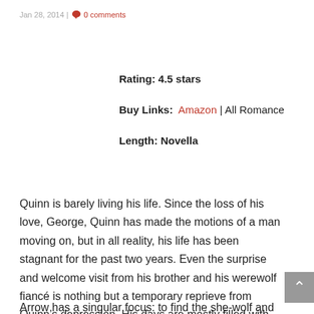Jan 28, 2014 | 0 comments
Rating: 4.5 stars
Buy Links: Amazon | All Romance
Length: Novella
Quinn is barely living his life. Since the loss of his love, George, Quinn has made the motions of a man moving on, but in all reality, his life has been stagnant for the past two years. Even the surprise and welcome visit from his brother and his werewolf fiancé is nothing but a temporary reprieve from Quinn's depression. His days are mostly filled with serving the magical community that frequents the Crystal Emporium. Then Arrow walks into the shop and straight into Quinn's life.
Arrow has a singular focus: to find the she-wolf and return her to